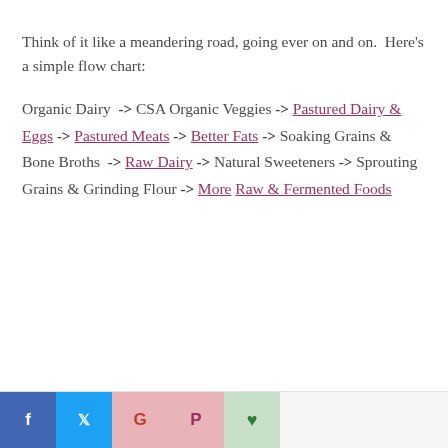Think of it like a meandering road, going ever on and on.  Here's a simple flow chart:
Organic Dairy -> CSA Organic Veggies -> Pastured Dairy & Eggs -> Pastured Meats -> Better Fats -> Soaking Grains & Bone Broths -> Raw Dairy -> Natural Sweeteners -> Sprouting Grains & Grinding Flour -> More Raw & Fermented Foods
Social share bar: Facebook, Twitter, Google+, Pinterest, WhatsApp